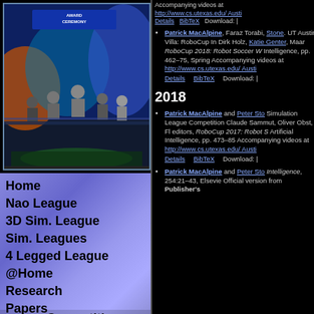[Figure (photo): Award ceremony photo showing people on stage with 'Award Ceremony' banner and colorful lighting]
Home
Nao League
3D Sim. League
Sim. Leagues
4 Legged League
@Home
Research
Papers
Competitions
Accompanying videos at http://www.cs.utexas.edu/ Austin Details BibTeX Download:
Patrick MacAlpine, Faraz Torabi, Stone. UT Austin Villa: RoboCup In Dirk Holz, Katie Genter, Maar RoboCup 2018: Robot Soccer W Intelligence, pp. 462-75, Spring Accompanying videos at http://www.cs.utexas.edu/ Austin Details BibTeX Download:
2018
Patrick MacAlpine and Peter Sto Simulation League Competition Claude Sammut, Oliver Obst, Fl editors, RoboCup 2017: Robot S Artificial Intelligence, pp. 473-85 Accompanying videos at http://www.cs.utexas.edu/ Austi Details BibTeX Download:
Patrick MacAlpine and Peter Sto Intelligence, 254:21-43, Elsevie Official version from Publisher's